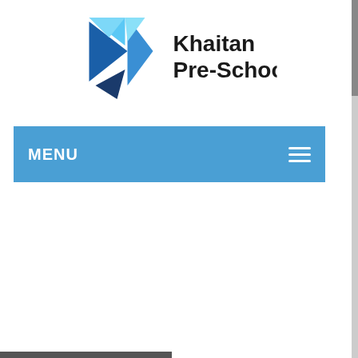[Figure (logo): Khaitan Pre-School logo with geometric arrow/star shape in blue tones and bold text 'Khaitan Pre-School']
MENU